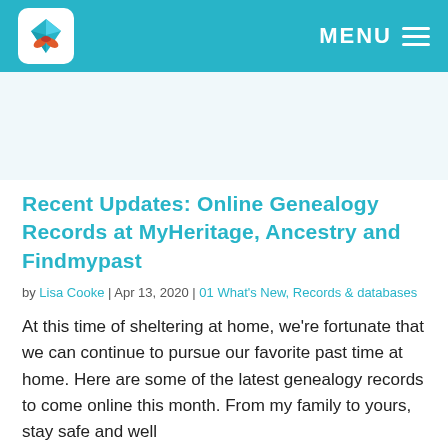MENU
Recent Updates: Online Genealogy Records at MyHeritage, Ancestry and Findmypast
by Lisa Cooke | Apr 13, 2020 | 01 What's New, Records & databases
At this time of sheltering at home, we're fortunate that we can continue to pursue our favorite past time at home. Here are some of the latest genealogy records to come online this month. From my family to yours, stay safe and well